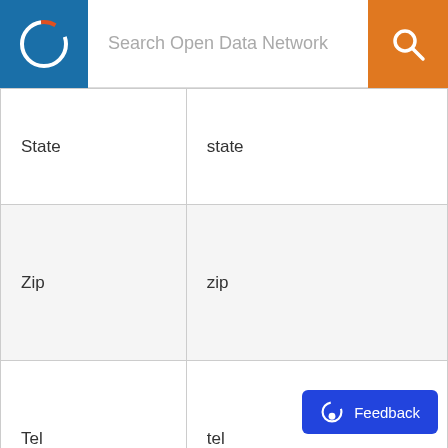Search Open Data Network
| Column Name | Field Name |
| --- | --- |
| State | state |
| Zip | zip |
| Tel | tel |